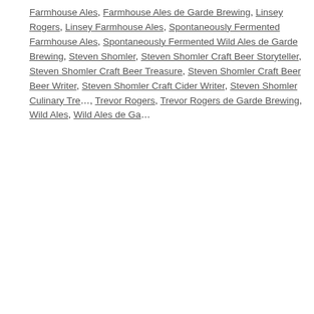Farmhouse Ales, Farmhouse Ales de Garde Brewing, Linsey Rogers, Linsey Farmhouse Ales, Spontaneously Fermented Farmhouse Ales, Spontaneously Fermented Wild Ales de Garde Brewing, Steven Shomler, Steven Shomler Craft Beer Storyteller, Steven Shomler Craft Beer Treasure, Steven Shomler Craft Beer Beer Writer, Steven Shomler Craft Cider Writer, Steven Shomler Culinary Trevor Rogers, Trevor Rogers de Garde Brewing, Wild Ales, Wild Ales de Ga…